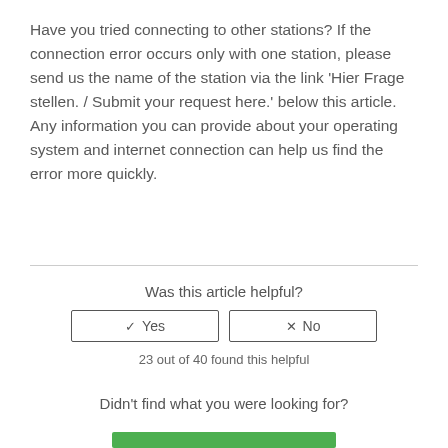Have you tried connecting to other stations? If the connection error occurs only with one station, please send us the name of the station via the link 'Hier Frage stellen. / Submit your request here.' below this article. Any information you can provide about your operating system and internet connection can help us find the error more quickly.
Was this article helpful?
✓ Yes   × No
23 out of 40 found this helpful
Didn't find what you were looking for?